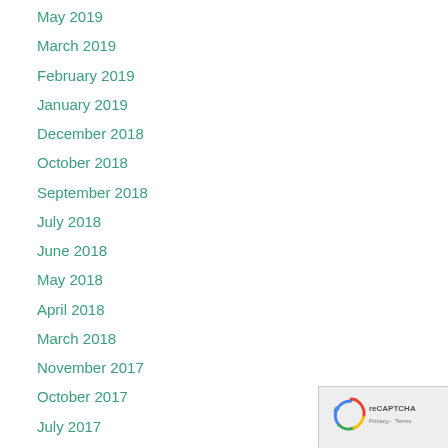May 2019
March 2019
February 2019
January 2019
December 2018
October 2018
September 2018
July 2018
June 2018
May 2018
April 2018
March 2018
November 2017
October 2017
July 2017
June 2017
May 2017
[Figure (logo): reCAPTCHA badge with Google Privacy and Terms text]